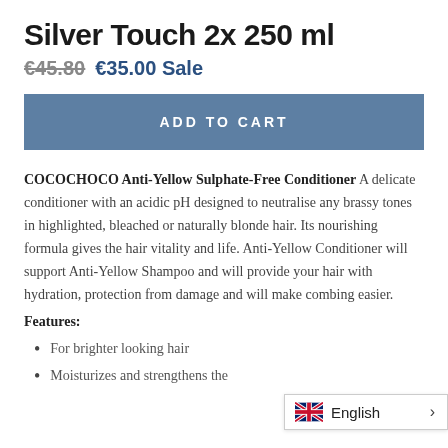Silver Touch 2x 250 ml
€45.80 €35.00 Sale
ADD TO CART
COCOCHOCO Anti-Yellow Sulphate-Free Conditioner A delicate conditioner with an acidic pH designed to neutralise any brassy tones in highlighted, bleached or naturally blonde hair. Its nourishing formula gives the hair vitality and life. Anti-Yellow Conditioner will support Anti-Yellow Shampoo and will provide your hair with hydration, protection from damage and will make combing easier.
Features:
For brighter looking hair
Moisturizes and strengthens the